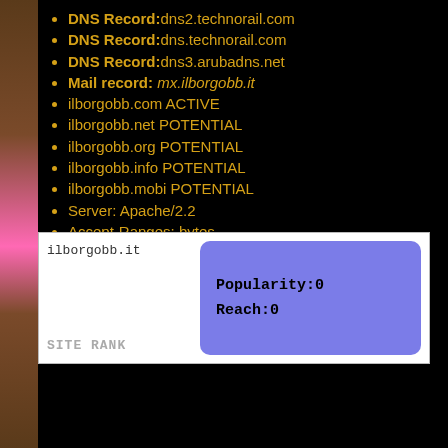DNS Record:dns2.technorail.com
DNS Record:dns.technorail.com
DNS Record:dns3.arubadns.net
Mail record: mx.ilborgobb.it
ilborgobb.com ACTIVE
ilborgobb.net POTENTIAL
ilborgobb.org POTENTIAL
ilborgobb.info POTENTIAL
ilborgobb.mobi POTENTIAL
Server: Apache/2.2
Accept-Ranges: bytes
| ilborgobb.it | Popularity:0
Reach:0 |
| SITE RANK |  |